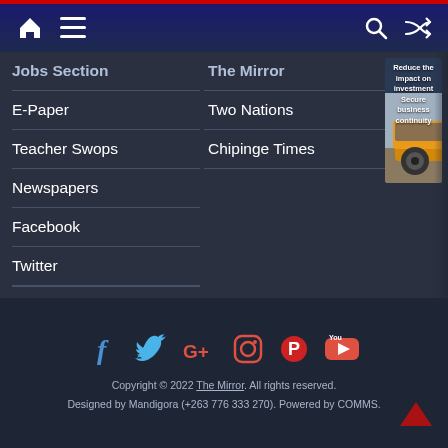Navigation header with home icon, menu icon, search icon, shuffle icon
Jobs Section
The Mirror
E-Paper
Two Nations
Teacher Swops
Chipinge Times
Newspapers
Facebook
Twitter
[Figure (photo): Advertisement showing a large yellow mining dump truck with text: Reduce the impact on investment / Secure business continuity]
Copyright © 2022 The Mirror. All rights reserved. Designed by Mandigora (+263 776 333 270). Powered by COMMS.